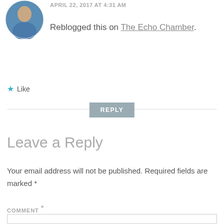[Figure (photo): Circular avatar photo of a person in a blue shirt]
APRIL 22, 2017 AT 4:31 AM
Reblogged this on The Echo Chamber.
★ Like
REPLY
Leave a Reply
Your email address will not be published. Required fields are marked *
COMMENT *